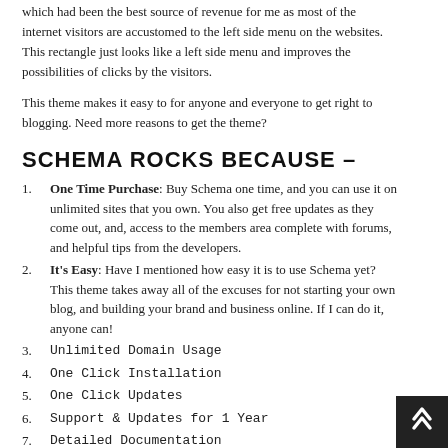which had been the best source of revenue for me as most of the internet visitors are accustomed to the left side menu on the websites. This rectangle just looks like a left side menu and improves the possibilities of clicks by the visitors.
This theme makes it easy to for anyone and everyone to get right to blogging. Need more reasons to get the theme?
SCHEMA ROCKS BECAUSE –
One Time Purchase: Buy Schema one time, and you can use it on unlimited sites that you own. You also get free updates as they come out, and, access to the members area complete with forums, and helpful tips from the developers.
It's Easy: Have I mentioned how easy it is to use Schema yet? This theme takes away all of the excuses for not starting your own blog, and building your brand and business online. If I can do it, anyone can!
Unlimited Domain Usage
One Click Installation
One Click Updates
Support & Updates for 1 Year
Detailed Documentation